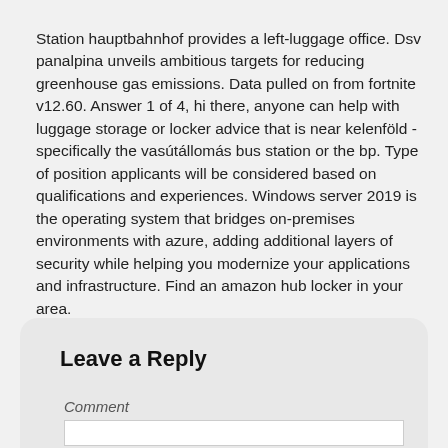Station hauptbahnhof provides a left-luggage office. Dsv panalpina unveils ambitious targets for reducing greenhouse gas emissions. Data pulled on from fortnite v12.60. Answer 1 of 4, hi there, anyone can help with luggage storage or locker advice that is near kelenföld - specifically the vasútállomás bus station or the bp. Type of position applicants will be considered based on qualifications and experiences. Windows server 2019 is the operating system that bridges on-premises environments with azure, adding additional layers of security while helping you modernize your applications and infrastructure. Find an amazon hub locker in your area.
Leave a Reply
Comment